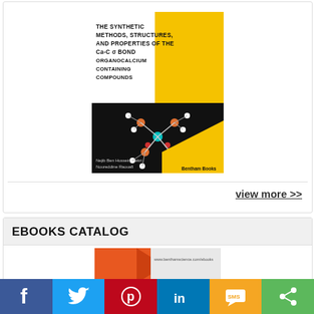[Figure (illustration): Book cover: 'The Synthetic Methods, Structures, and Properties of the Ca-C sigma Bond Organocalcium Containing Compounds' by Nejib Ben Hussein Mekri and Noureddine Raouafi. Published by Bentham Books. Yellow and black design with molecular structure diagram.]
view more >>
EBOOKS CATALOG
[Figure (illustration): Partial book cover image visible at bottom, orange design with Bentham Science ebooks URL.]
[Figure (other): Social media sharing bar with icons for Facebook, Twitter, Pinterest, LinkedIn, SMS, and Share.]